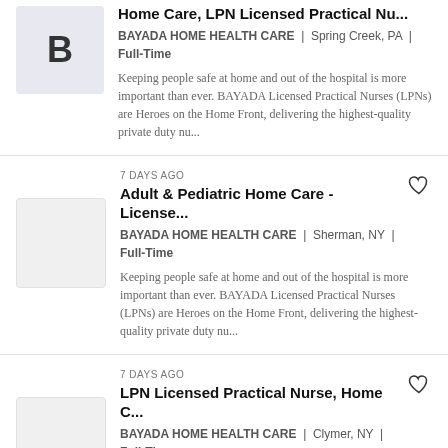Home Care, LPN Licensed Practical Nu... | BAYADA HOME HEALTH CARE | Spring Creek, PA | Full-Time | Keeping people safe at home and out of the hospital is more important than ever. BAYADA Licensed Practical Nurses (LPNs) are Heroes on the Home Front, delivering the highest-quality private duty nu...
7 DAYS AGO | Adult & Pediatric Home Care - License... | BAYADA HOME HEALTH CARE | Sherman, NY | Full-Time | Keeping people safe at home and out of the hospital is more important than ever. BAYADA Licensed Practical Nurses (LPNs) are Heroes on the Home Front, delivering the highest-quality private duty nu...
7 DAYS AGO | LPN Licensed Practical Nurse, Home C... | BAYADA HOME HEALTH CARE | Clymer, NY | Full-Time